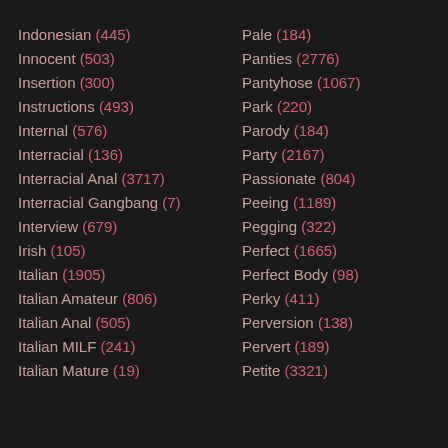Indonesian (445)
Innocent (503)
Insertion (300)
Instructions (493)
Internal (576)
Interracial (136)
Interracial Anal (3717)
Interracial Gangbang (7)
Interview (679)
Irish (105)
Italian (1905)
Italian Amateur (806)
Italian Anal (505)
Italian MILF (241)
Italian Mature (19)
Pale (184)
Panties (2776)
Pantyhose (1067)
Park (220)
Parody (184)
Party (2167)
Passionate (804)
Peeing (1189)
Pegging (322)
Perfect (1665)
Perfect Body (98)
Perky (411)
Perversion (138)
Pervert (189)
Petite (3321)